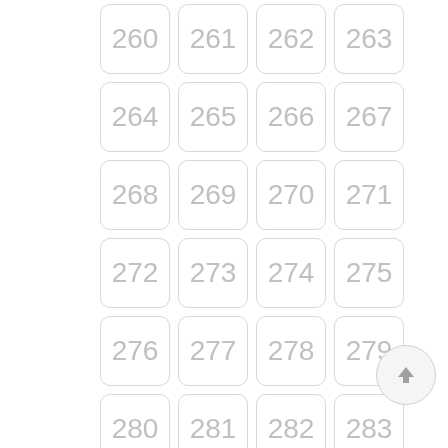[Figure (other): Grid of numbered rounded-rectangle cells from 260 to 299, arranged in 4 columns and 10 rows, with a scroll-to-top button at the bottom right.]